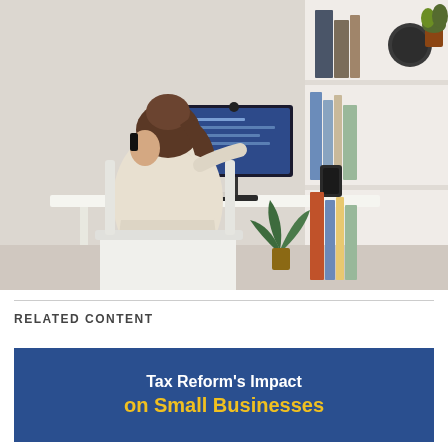[Figure (photo): Woman sitting at a white desk, viewed from behind, talking on a phone while looking at a computer monitor. A bookshelf with books and plants is visible on the right side of the image. Home office setting with light walls.]
RELATED CONTENT
[Figure (illustration): Blue banner graphic with white bold text reading 'Tax Reform's Impact' and yellow/gold bold text below reading 'on Small Businesses']